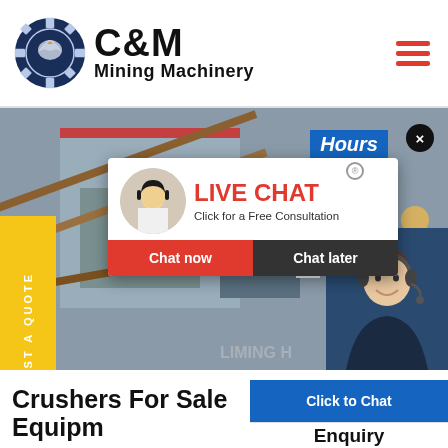[Figure (logo): C&M Mining Machinery logo with gear and eagle icon]
[Figure (screenshot): Website screenshot showing C&M Mining Machinery page with live chat popup overlay, yellow REQUEST A QUOTE sidebar tab, and industrial/mining equipment hero image]
Crushers For Sale Equipm...
Enquiry